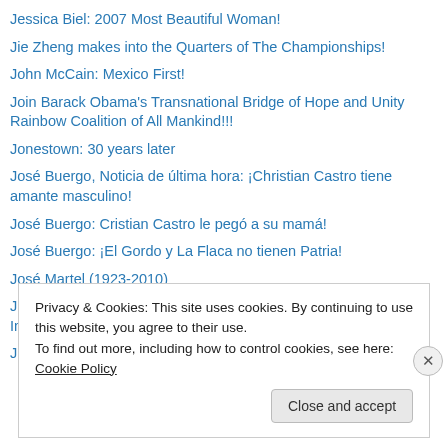Jessica Biel: 2007 Most Beautiful Woman!
Jie Zheng makes into the Quarters of The Championships!
John McCain: Mexico First!
Join Barack Obama's Transnational Bridge of Hope and Unity Rainbow Coalition of All Mankind!!!
Jonestown: 30 years later
José Buergo, Noticia de última hora: ¡Christian Castro tiene amante masculino!
José Buergo: Cristian Castro le pegó a su mamá!
José Buergo: ¡El Gordo y La Flaca no tienen Patria!
José Martel (1923-2010)
Juan Carlos Lecompte: «Las FARC destruyeron mi amor con Ingrid»
Just Married! Issac and Patricia say YES to Love!
Privacy & Cookies: This site uses cookies. By continuing to use this website, you agree to their use. To find out more, including how to control cookies, see here: Cookie Policy
Close and accept